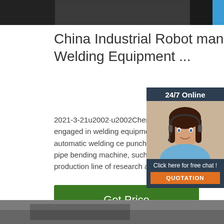[Figure (photo): Top banner photo showing industrial/manufacturing environment with dark background and blue element on right]
China Industrial Robot manufacturer, Welding Equipment ...
2021-3-21u2002·u2002Chengdu embelli technology Co., Ltd is mainly engaged in welding equipment, automatic welding p line, welding robot, automatic welding ce punching machine, bending machine, die machine, pipe bending machine, such as forging machine tool automatic up-down production line of research and developm design, manufacture, sales ...
[Figure (photo): 24/7 Online chat widget with woman customer service representative wearing headset, with Click here for free chat and QUOTATION button]
[Figure (photo): Bottom banner photo showing industrial/manufacturing facility interior]
Get Price